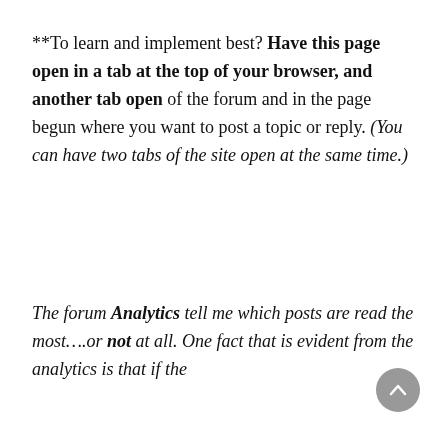**To learn and implement best? Have this page open in a tab at the top of your browser, and another tab open of the forum and in the page begun where you want to post a topic or reply. (You can have two tabs of the site open at the same time.)
The forum Analytics tell me which posts are read the most....or not at all. One fact that is evident from the analytics is that if the